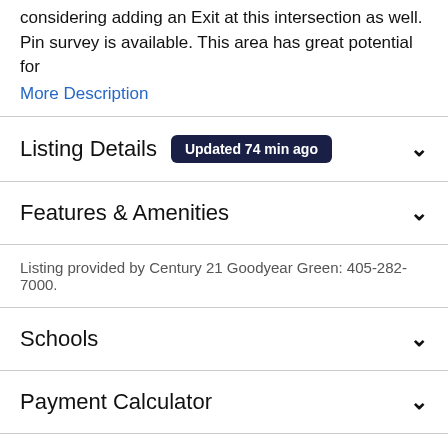considering adding an Exit at this intersection as well. Pin survey is available. This area has great potential for
More Description
Listing Details Updated 74 min ago
Features & Amenities
Listing provided by Century 21 Goodyear Green: 405-282-7000.
Schools
Payment Calculator
Take a Tour
Ask A Question